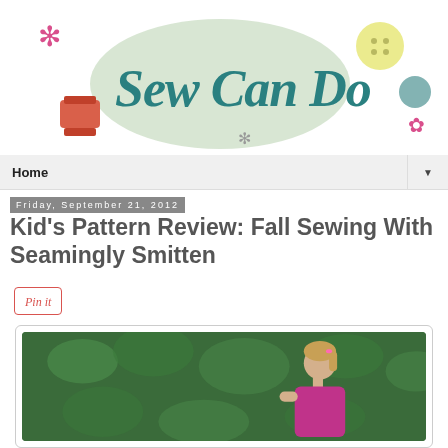[Figure (logo): Sew Can Do blog logo with decorative text, thread spool, buttons, and asterisk decorations on white background]
Home
Friday, September 21, 2012
Kid's Pattern Review: Fall Sewing With Seamingly Smitten
[Figure (screenshot): Pin it button]
[Figure (photo): Young girl with blonde hair in pink outfit photographed from side against green leafy background]